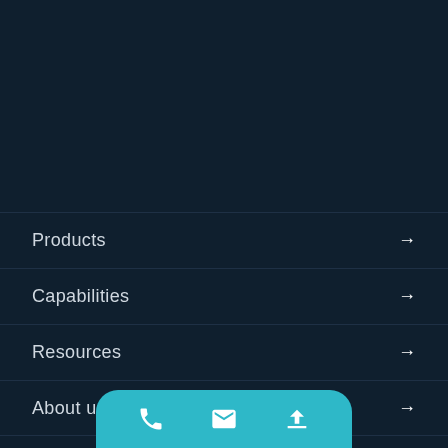Products →
Capabilities →
Resources →
About us →
Sitemap | Privacy Policy
Copyright © Glitter Mold Technology Co., Ltd. All Rights Reserved.
[Figure (other): Bottom navigation bar with phone, email, and upload/back-to-top icons on a teal rounded-top bar]